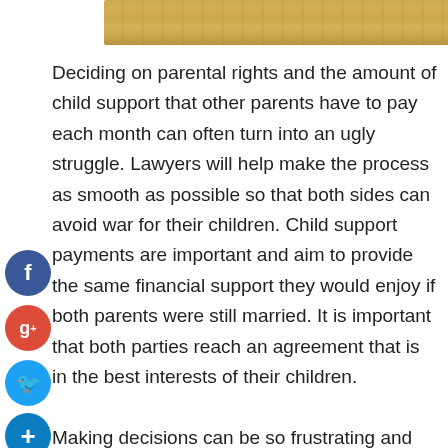[Figure (photo): Wood surface / wooden table top image at the top of the page]
Deciding on parental rights and the amount of child support that other parents have to pay each month can often turn into an ugly struggle. Lawyers will help make the process as smooth as possible so that both sides can avoid war for their children. Child support payments are important and aim to provide the same financial support they would enjoy if both parents were still married. It is important that both parties reach an agreement that is in the best interests of their children.

Making decisions can be so frustrating and difficult that some parents even take steps to slow down the CPU to avoid maintenance costs altogether. Not only does this make the divorce last longer and more difficult than both parties thought,